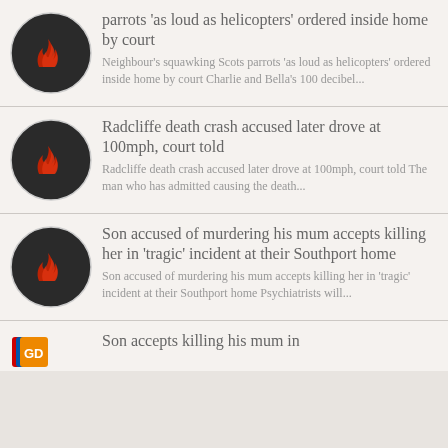[Figure (illustration): Dark circular logo with red flame icon]
parrots 'as loud as helicopters' ordered inside home by court
Neighbour's squawking Scots parrots 'as loud as helicopters' ordered inside home by court Charlie and Bella's 100 decibel...
[Figure (illustration): Dark circular logo with red flame icon]
Radcliffe death crash accused later drove at 100mph, court told
Radcliffe death crash accused later drove at 100mph, court told The man who has admitted causing the death...
[Figure (illustration): Dark circular logo with red flame icon]
Son accused of murdering his mum accepts killing her in 'tragic' incident at their Southport home
Son accused of murdering his mum accepts killing her in 'tragic' incident at their Southport home Psychiatrists will...
[Figure (logo): Colorful news source logo]
Son accepts killing his mum in